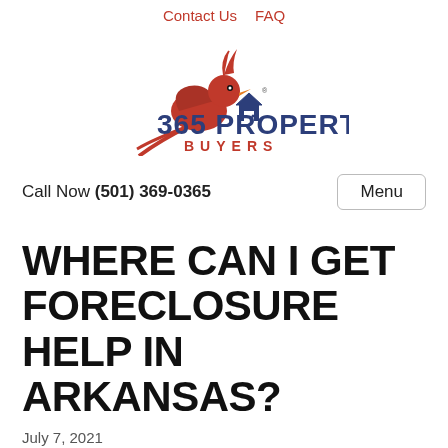Contact Us   FAQ
[Figure (logo): 365 Property Buyers logo with a red cardinal bird and house icon, blue bold text '365 PROPERTY' and red spaced text 'BUYERS']
Call Now (501) 369-0365
Menu
WHERE CAN I GET FORECLOSURE HELP IN ARKANSAS?
July 7, 2021
By 365 Property Buyers